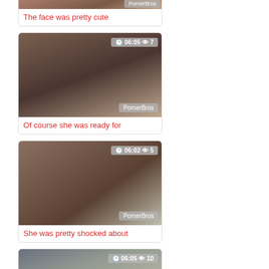[Figure (screenshot): Video thumbnail with watermark 'PornerBros' and time badge partially visible at top]
The face was pretty cute
[Figure (screenshot): Video thumbnail showing person lying down, badge '06:05 👁 7', watermark 'PornerBros']
Of course she was ready for
[Figure (screenshot): Video thumbnail close-up, badge '06:02 👁 5', watermark 'PornerBros']
She was pretty shocked about
[Figure (screenshot): Video thumbnail partially visible at bottom, badge '06:05 👁 10']